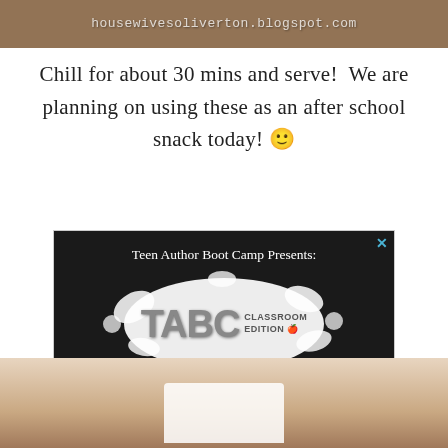[Figure (photo): Top cropped food photo with watermark overlay reading housewivesoliverton.blogspot.com]
Chill for about 30 mins and serve!  We are planning on using these as an after school snack today! 😊
[Figure (other): Advertisement for Teen Author Boot Camp Classroom Edition (TABC) - dark chalkboard background with logo, text about writing courses, and Get Started button]
[Figure (photo): Bottom cropped food photo showing dessert items on a white plate]